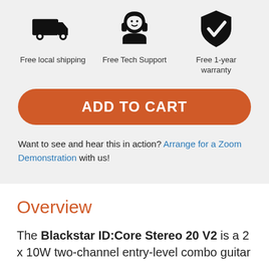[Figure (illustration): Three icons in a row: a delivery truck (Free local shipping), a headset/support person (Free Tech Support), and a shield with checkmark (Free 1-year warranty)]
Free local shipping
Free Tech Support
Free 1-year warranty
ADD TO CART
Want to see and hear this in action? Arrange for a Zoom Demonstration with us!
Overview
The Blackstar ID:Core Stereo 20 V2 is a 2 x 10W two-channel entry-level combo guitar